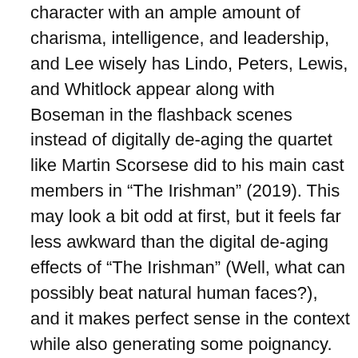character with an ample amount of charisma, intelligence, and leadership, and Lee wisely has Lindo, Peters, Lewis, and Whitlock appear along with Boseman in the flashback scenes instead of digitally de-aging the quartet like Martin Scorsese did to his main cast members in “The Irishman” (2019). This may look a bit odd at first, but it feels far less awkward than the digital de-aging effects of “The Irishman” (Well, what can possibly beat natural human faces?), and it makes perfect sense in the context while also generating some poignancy.
Thanks to Lee’s considerate approach to the story and characters, a number of minor supporting characters popping here and there around the story are presented with humanity and personality, and the performers playing them are clearly having a ball with their respective parts. While Jean Leno, Paul Walter Hauser, Jasper Pääkkönen,